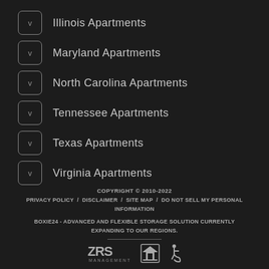Illinois Apartments
Maryland Apartments
North Carolina Apartments
Tennessee Apartments
Texas Apartments
Virginia Apartments
COPYRIGHT © 2010-2022
PRIVACY POLICY / DISCLAIMER / SITE MAP / DO NOT SELL MY PERSONAL INFORMATION
BOXIE24 - ADVANCED AND FLEXIBLE STORAGE SOLUTION CURRENTLY EXPANDING TO OUR REGIONS.